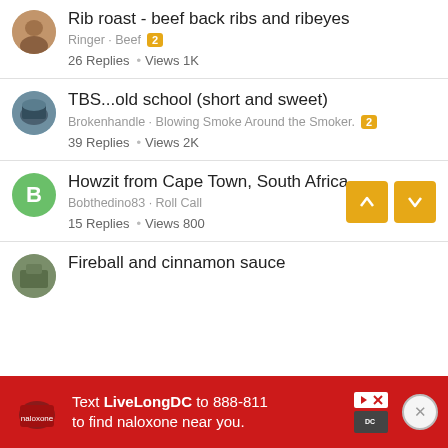Rib roast - beef back ribs and ribeyes
Ringer · Beef [2]
26 Replies · Views 1K
TBS...old school (short and sweet)
Brokenhandle · Blowing Smoke Around the Smoker. [2]
39 Replies · Views 2K
Howzit from Cape Town, South Africa
Bobthedino83 · Roll Call
15 Replies · Views 800
Fireball and cinnamon sauce
[Figure (screenshot): Advertisement banner: Text LiveLongDC to 888-811 to find naloxone near you.]